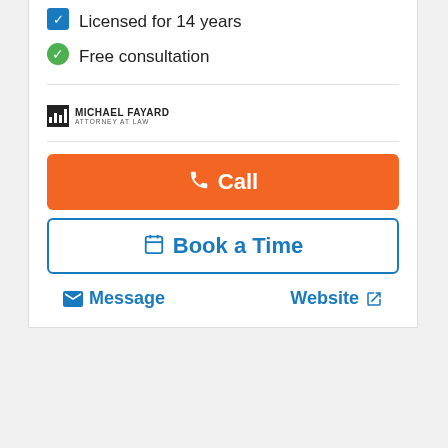Licensed for 14 years
Free consultation
[Figure (logo): Michael Fayard Attorney at Law logo with black square containing white bar chart icon and text]
Call
Book a Time
Message
Website